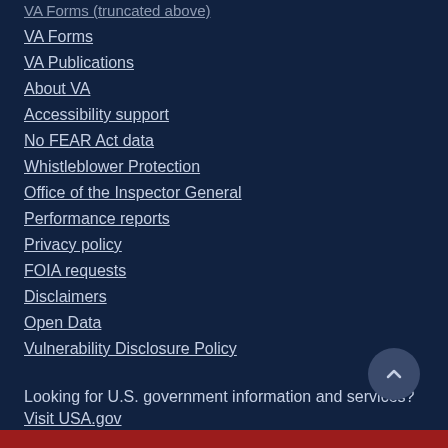VA Forms
VA Publications
About VA
Accessibility support
No FEAR Act data
Whistleblower Protection
Office of the Inspector General
Performance reports
Privacy policy
FOIA requests
Disclaimers
Open Data
Vulnerability Disclosure Policy
Looking for U.S. government information and services? Visit USA.gov